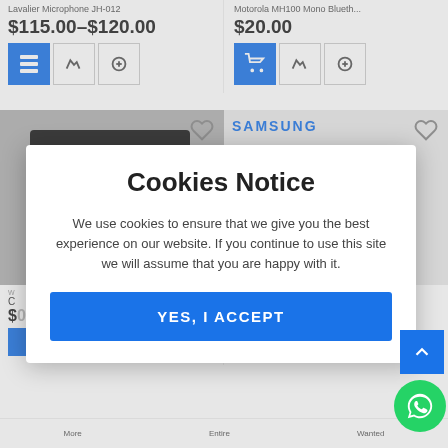Lavalier Microphone JH-012
$115.00–$120.00
Motorola MH100 Mono Blueth...
$20.00
[Figure (photo): Black USB-C multiport adapter product box against dark background]
[Figure (photo): Samsung AKG white earphones/headset with inline microphone]
SAMSUNG
AKG Headset
TEMS
[Figure (screenshot): Cookies Notice modal dialog with accept button]
Cookies Notice
We use cookies to ensure that we give you the best experience on our website. If you continue to use this site we will assume that you are happy with it.
YES, I ACCEPT